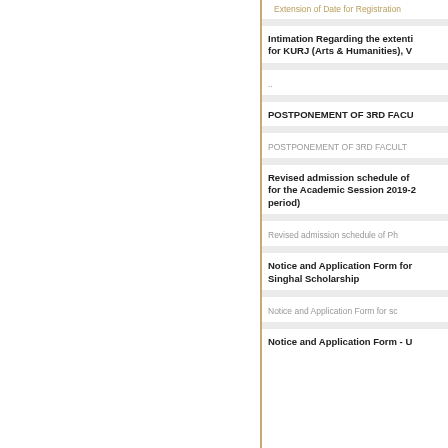Extension of Date for Registration
Intimation Regarding the extention for KURJ (Arts & Humanities), V
..
POSTPONEMENT OF 3RD FACU
POSTPONEMENT OF 3RD FACULT
Revised admission schedule of Ph for the Academic Session 2019-2 period)
Revised admission schedule of Ph
Notice and Application Form for Singhal Scholarship
Notice and Application Form for sc
Notice and Application Form - U